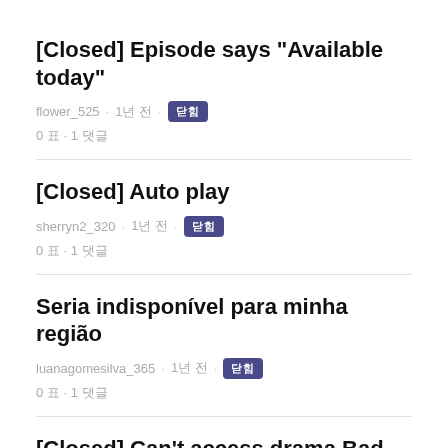[Closed] Episode says "Available today"
flower_525 · 1년 전 · 닫힘
0 표 · 1 댓글
[Closed] Auto play
sherryn2_320 · 1년 전 · 닫힘
0 표 · 1 댓글
Seria indisponível para minha região
luanagomesilva_365 · 1년 전 · 닫힘
0 표 · 1 댓글
[Closed] Can't access drama Bad Papa